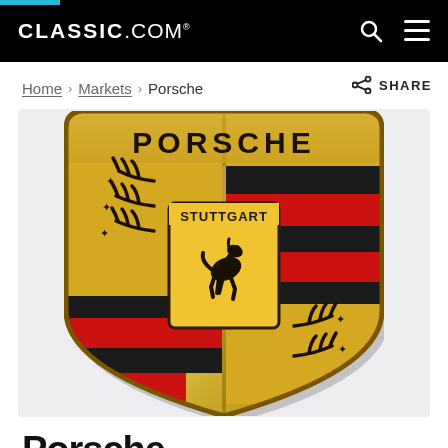CLASSIC.COM
Home > Markets > Porsche    SHARE
[Figure (logo): Porsche crest/shield logo with Stuttgart horse, red and black stripes, antler-branch decorations, and PORSCHE text at top. Gold metallic texture.]
Porsche